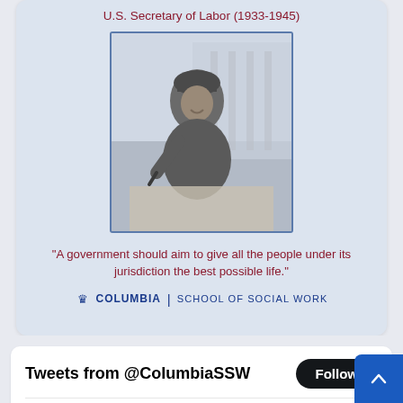U.S. Secretary of Labor (1933-1945)
[Figure (photo): Black and white photograph of Frances Perkins writing, wearing a hat and jacket, with a classical building in the background]
"A government should aim to give all the people under its jurisdiction the best possible life."
[Figure (logo): Columbia School of Social Work logo with crown icon]
Tweets from @ColumbiaSSW
Follow
ColumbiaSocialWork Retweeted